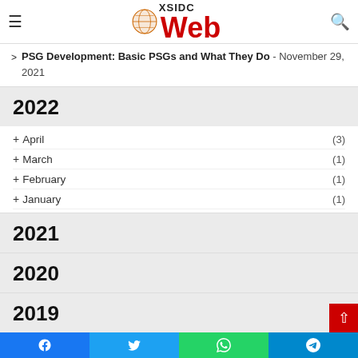XSIDC Web
PSG Development: Basic PSGs and What They Do - November 29, 2021
2022
+ April (3)
+ March (1)
+ February (1)
+ January (1)
2021
2020
2019